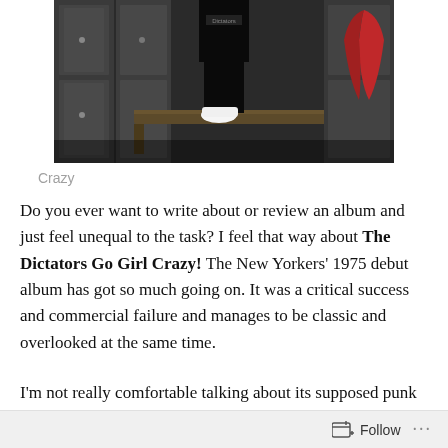[Figure (photo): A person standing on a locker room bench in front of metal lockers, wearing white sneakers and dark clothing. A red item hangs on a locker to the right.]
Crazy
Do you ever want to write about or review an album and just feel unequal to the task? I feel that way about The Dictators Go Girl Crazy! The New Yorkers' 1975 debut album has got so much going on. It was a critical success and commercial failure and manages to be classic and overlooked at the same time.
I'm not really comfortable talking about its supposed punk influence either, given I'm not a big punk fan. This always